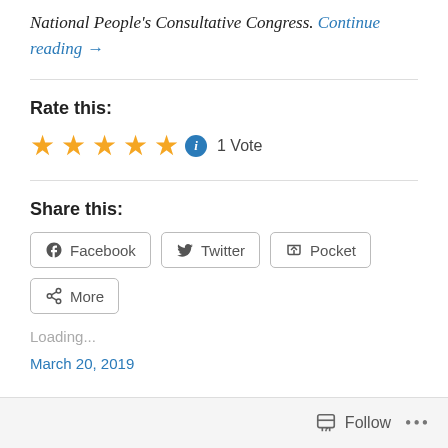National People's Consultative Congress. Continue reading →
Rate this:
[Figure (other): Five gold stars rating with info icon and '1 Vote' label]
Share this:
[Figure (other): Share buttons: Facebook, Twitter, Pocket, More]
Loading...
March 20, 2019
Follow ...